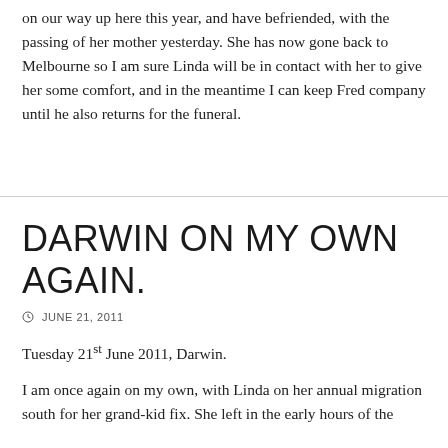on our way up here this year, and have befriended, with the passing of her mother yesterday. She has now gone back to Melbourne so I am sure Linda will be in contact with her to give her some comfort, and in the meantime I can keep Fred company until he also returns for the funeral.
DARWIN ON MY OWN AGAIN.
JUNE 21, 2011
Tuesday 21st June 2011, Darwin.
I am once again on my own, with Linda on her annual migration south for her grand-kid fix. She left in the early hours of the